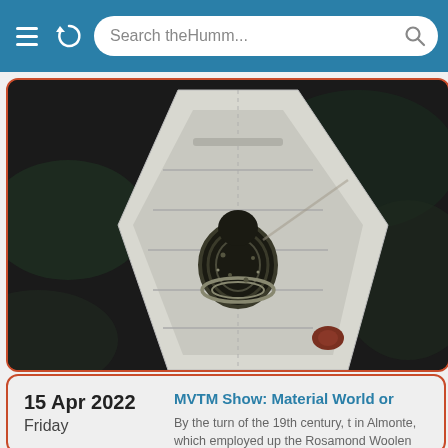[Figure (screenshot): Browser address bar with menu icon, reload icon, and search field reading 'Search theHumm...' with a search icon, on a teal/blue background.]
[Figure (photo): Painting or illustration viewed from above showing a white rowboat with a person wearing a dark patterned sweater sitting in the bow, dark water surroundings, a red/brown object near the stern.]
15 Apr 2022
Friday
MVTM Show: Material World or
By the turn of the 19th century, t in Almonte, which employed up the Rosamond Woolen Company 400. Approximately 1,600 of Alm worked in a textile mill. This exh history and the manufacturing pr and hands-free videos where vis hand accounts of the industry fro workers from the region.
Sat, Feb 5, 2022 – Fri, Apr 29, 202
each Tue Wed Thu Fri Sat
Time: 1:00PM – 4:00pm